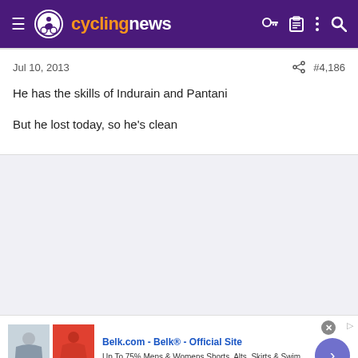cyclingnews
Jul 10, 2013    #4,186
He has the skills of Indurain and Pantani

But he lost today, so he's clean
[Figure (screenshot): Advertisement for Belk.com showing clothing items]
Belk.com - Belk® - Official Site
Up To 75% Mens & Womens Shorts, Alts, Skirts & Swim
www.belk.com